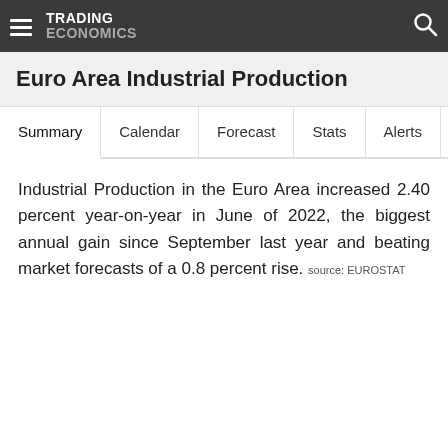TRADING ECONOMICS
Euro Area Industrial Production
Summary  Calendar  Forecast  Stats  Alerts
Industrial Production in the Euro Area increased 2.40 percent year-on-year in June of 2022, the biggest annual gain since September last year and beating market forecasts of a 0.8 percent rise. source: EUROSTAT